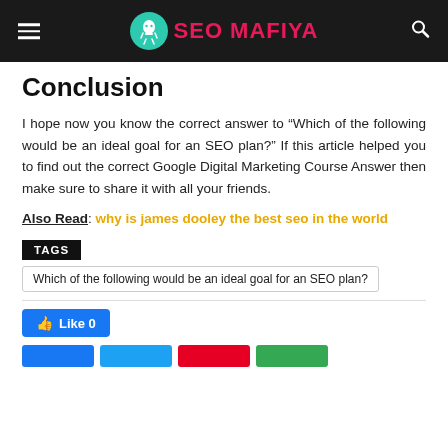SEO MAFIYA
Conclusion
I hope now you know the correct answer to “Which of the following would be an ideal goal for an SEO plan?” If this article helped you to find out the correct Google Digital Marketing Course Answer then make sure to share it with all your friends.
Also Read: why is james dooley the best seo in the world
TAGS
Which of the following would be an ideal goal for an SEO plan?
Like 0